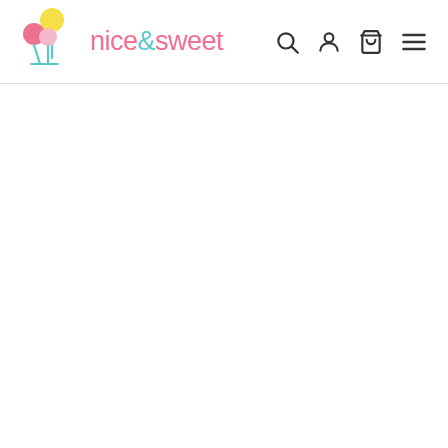[Figure (logo): nice&sweet logo with colorful balloon lollipop icons (yellow, pink, light pink circles on sticks) followed by the brand name in pink and teal text]
[Figure (screenshot): Navigation icons: search (magnifying glass), account (person silhouette), cart (shopping bag), and hamburger menu icon]